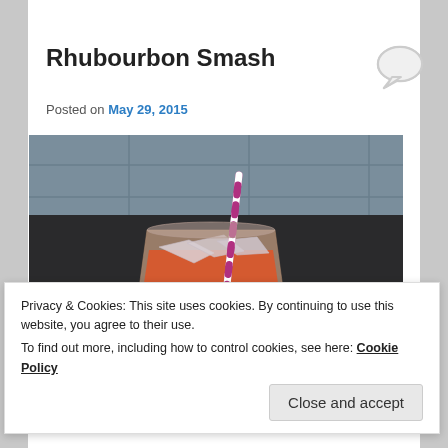Rhubourbon Smash
Posted on May 29, 2015
[Figure (photo): A glass of reddish-orange cocktail with ice and a purple and white striped straw, on a dark counter with gray tile backsplash]
Privacy & Cookies: This site uses cookies. By continuing to use this website, you agree to their use.
To find out more, including how to control cookies, see here: Cookie Policy